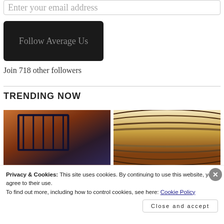Enter your email address
[Figure (screenshot): Dark rounded button labeled 'Follow Average Us']
Join 718 other followers
TRENDING NOW
[Figure (photo): Two trending article thumbnail images side by side: left shows a staircase railing with warm orange/brown tones and dark blue shadows; right shows close-up curved lines in brown/gold tones.]
Privacy & Cookies: This site uses cookies. By continuing to use this website, you agree to their use.
To find out more, including how to control cookies, see here: Cookie Policy
Close and accept